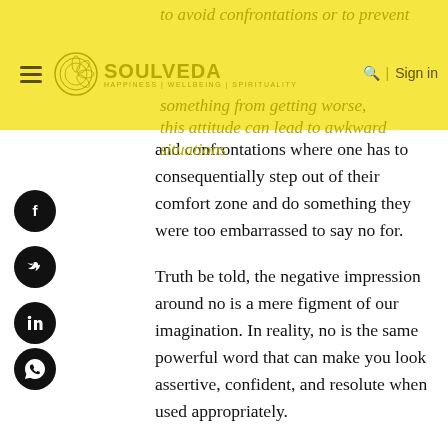to avoid confrontations or to prevent something from getting worse, this attitude can lead to awkward situations
[Figure (logo): Soulveda logo with hamburger menu, circle emblem, and SOULVEDA wordmark with tagline HAPPINESS | WELLBEING | SPIRITUALITY, plus search and Sign in navigation]
[Figure (illustration): Four social media share icons (Facebook, Twitter, LinkedIn, WhatsApp) as black circles with white icons arranged vertically on the left side]
and confrontations where one has to consequentially step out of their comfort zone and do something they were too embarrassed to say no for.
Truth be told, the negative impression around no is a mere figment of our imagination. In reality, no is the same powerful word that can make you look assertive, confident, and resolute when used appropriately.